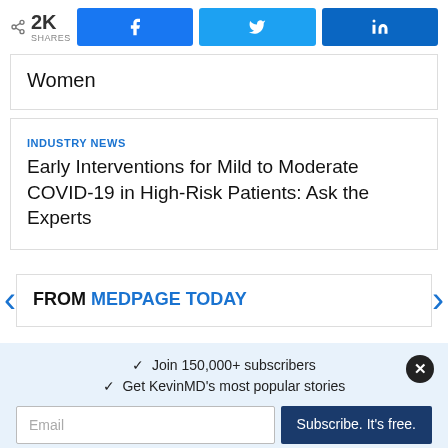< 2K SHARES | Facebook | Twitter | LinkedIn
Women
INDUSTRY NEWS
Early Interventions for Mild to Moderate COVID-19 in High-Risk Patients: Ask the Experts
FROM MEDPAGE TODAY
✓  Join 150,000+ subscribers
✓  Get KevinMD's most popular stories